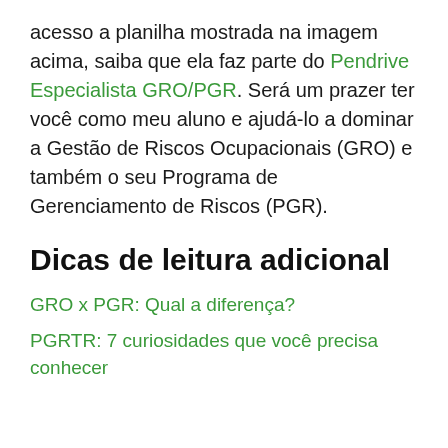acesso a planilha mostrada na imagem acima, saiba que ela faz parte do Pendrive Especialista GRO/PGR. Será um prazer ter você como meu aluno e ajudá-lo a dominar a Gestão de Riscos Ocupacionais (GRO) e também o seu Programa de Gerenciamento de Riscos (PGR).
Dicas de leitura adicional
GRO x PGR: Qual a diferença?
PGRTR: 7 curiosidades que você precisa conhecer